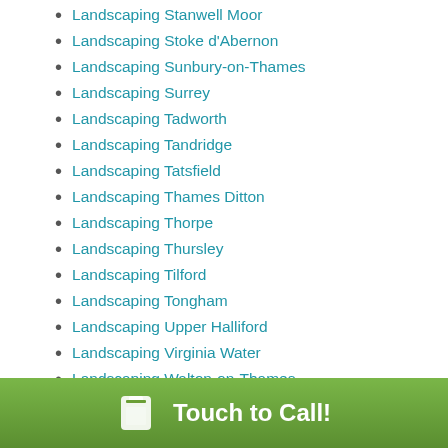Landscaping Stanwell Moor
Landscaping Stoke d'Abernon
Landscaping Sunbury-on-Thames
Landscaping Surrey
Landscaping Tadworth
Landscaping Tandridge
Landscaping Tatsfield
Landscaping Thames Ditton
Landscaping Thorpe
Landscaping Thursley
Landscaping Tilford
Landscaping Tongham
Landscaping Upper Halliford
Landscaping Virginia Water
Landscaping Walton-on-Thames
Landscaping Warlingham
Landscaping West Byfleet
Touch to Call!